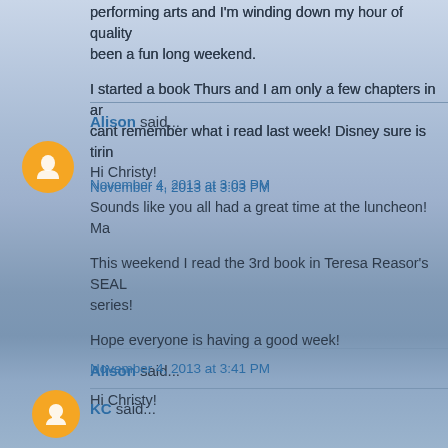performing arts and I'm winding down my hour of quality been a fun long weekend.
I started a book Thurs and I am only a few chapters in and cant remember what i read last week! Disney sure is tiring
November 4, 2013 at 3:03 PM
Alison said...
Hi Christy!
Sounds like you all had a great time at the luncheon! Ma
This weekend I read the 3rd book in Teresa Reasor's SEAL series!
Hope everyone is having a good week!
November 4, 2013 at 3:41 PM
KC said...